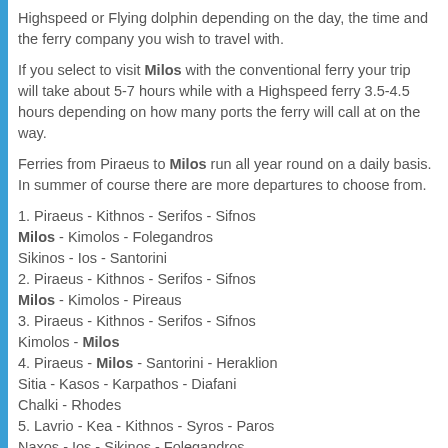Highspeed or Flying dolphin depending on the day, the time and the ferry company you wish to travel with.
If you select to visit Milos with the conventional ferry your trip will take about 5-7 hours while with a Highspeed ferry 3.5-4.5 hours depending on how many ports the ferry will call at on the way.
Ferries from Piraeus to Milos run all year round on a daily basis. In summer of course there are more departures to choose from.
1. Piraeus - Kithnos - Serifos - Sifnos Milos - Kimolos - Folegandros Sikinos - Ios - Santorini
2. Piraeus - Kithnos - Serifos - Sifnos Milos - Kimolos - Pireaus
3. Piraeus - Kithnos - Serifos - Sifnos Kimolos - Milos
4. Piraeus - Milos - Santorini - Heraklion Sitia - Kasos - Karpathos - Diafani Chalki - Rhodes
5. Lavrio - Kea - Kithnos - Syros - Paros Naxos - Ios - Sikinos - Folegandros Kimolos - Milos
6. Milos - Kimolos - Folegandros - Sikinos